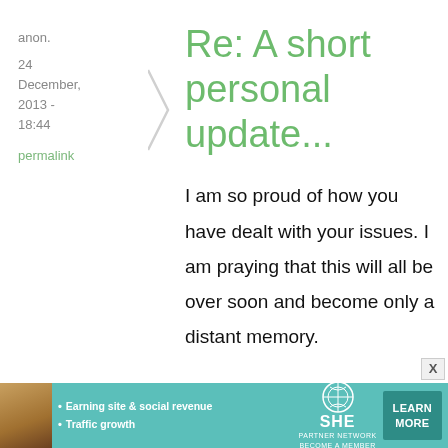anon.
24 December, 2013 - 18:44
permalink
Re: A short personal update...
I am so proud of how you have dealt with your issues. I am praying that this will all be over soon and become only a distant memory.
[Figure (infographic): Advertisement banner for SHE Partner Network: woman photo on left, bullet points 'Earning site & social revenue' and 'Traffic growth', SHE logo, 'LEARN MORE' button]